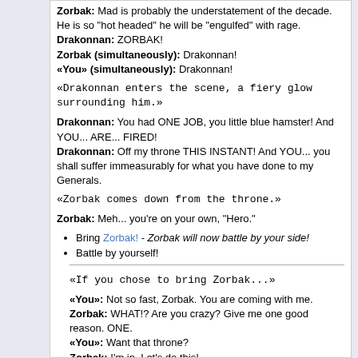Zorbak: Mad is probably the understatement of the decade. He is so "hot headed" he will be "engulfed" with rage.
Drakonnan: ZORBAK!
Zorbak (simultaneously): Drakonnan!
«You» (simultaneously): Drakonnan!
«Drakonnan enters the scene, a fiery glow surrounding him.»
Drakonnan: You had ONE JOB, you little blue hamster! And YOU... ARE... FIRED!
Drakonnan: Off my throne THIS INSTANT! And YOU... you shall suffer immeasurably for what you have done to my Generals.
«Zorbak comes down from the throne.»
Zorbak: Meh... you're on your own, "Hero."
Bring Zorbak! - Zorbak will now battle by your side!
Battle by yourself!
«If you chose to bring Zorbak...»
«You»: Not so fast, Zorbak. You are coming with me.
Zorbak: WHAT!? Are you crazy? Give me one good reason. ONE.
«You»: Want that throne?
Zorbak: I'm in. Let's do this!
Drakonnan: HAHAHA! More of you will make a larger fire. I shall show you the same suffering and torment that I have endured. Embrace your destiny of fiery doom!
1 BATTLE: Drakonnan
Level 1-22: Drakonnan (3)